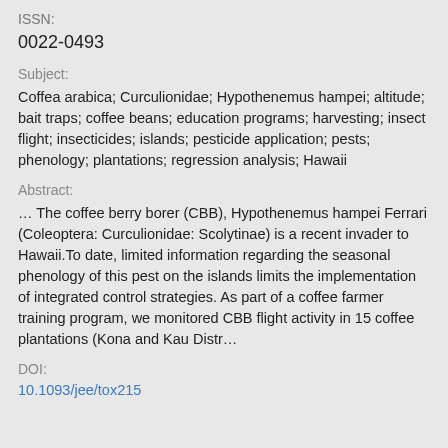ISSN:
0022-0493
Subject:
Coffea arabica; Curculionidae; Hypothenemus hampei; altitude; bait traps; coffee beans; education programs; harvesting; insect flight; insecticides; islands; pesticide application; pests; phenology; plantations; regression analysis; Hawaii
Abstract:
… The coffee berry borer (CBB), Hypothenemus hampei Ferrari (Coleoptera: Curculionidae: Scolytinae) is a recent invader to Hawaii.To date, limited information regarding the seasonal phenology of this pest on the islands limits the implementation of integrated control strategies. As part of a coffee farmer training program, we monitored CBB flight activity in 15 coffee plantations (Kona and Kau Distr…
DOI:
10.1093/jee/tox215